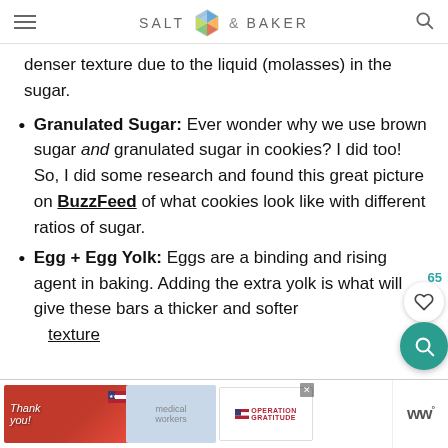SALT & BAKER
denser texture due to the liquid (molasses) in the sugar.
Granulated Sugar: Ever wonder why we use brown sugar and granulated sugar in cookies? I did too! So, I did some research and found this great picture on BuzzFeed of what cookies look like with different ratios of sugar.
Egg + Egg Yolk: Eggs are a binding and rising agent in baking. Adding the extra yolk is what will give these bars a thicker and softer texture
[Figure (screenshot): Advertisement banner at bottom of page showing Operation Gratitude thank you card with American flag and soldiers/medical workers. WW logo on right.]